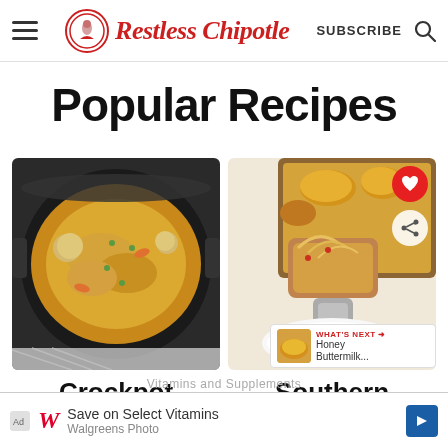Restless Chipotle — SUBSCRIBE
Popular Recipes
[Figure (photo): Overhead shot of crockpot with chicken stew, potatoes, carrots in creamy sauce]
[Figure (photo): Cheesy Southern casserole being lifted with a spatula, with heart and share buttons overlay, and 'What's Next: Honey Buttermilk...' tooltip]
Crockpot
Southern
Vitamins and Supplements
Save on Select Vitamins
Walgreens Photo